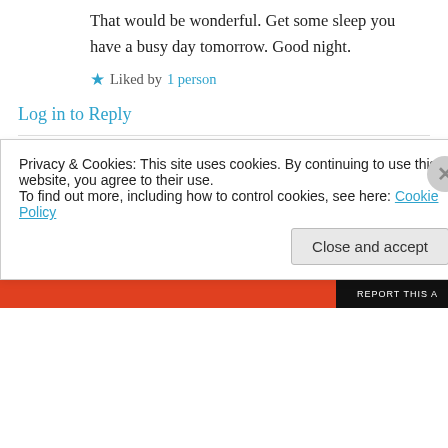That would be wonderful. Get some sleep you have a busy day tomorrow. Good night.
Liked by 1 person
Log in to Reply
Chuck on June 10, 2017 at 20:53
Congratulations on your Bloggers Bash Award for 2017
Liked by 1 person
Privacy & Cookies: This site uses cookies. By continuing to use this website, you agree to their use. To find out more, including how to control cookies, see here: Cookie Policy
Close and accept